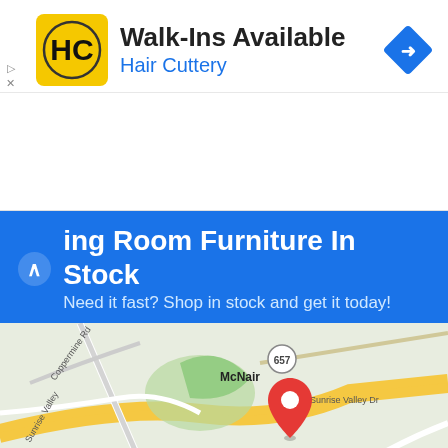[Figure (screenshot): Hair Cuttery ad banner with logo, Walk-Ins Available text, navigation arrow icon, and small ad controls]
[Figure (screenshot): Living Room Furniture In Stock ad with blue header, Google map showing McNair area with location pin, Store info and Directions buttons]
before he rose to power as well. Quitting high profile jobs to work for the country and he even refused to accept a peon as he believes in clearing his desk and doing his chores himself. The man was bound to make headlines a show many politicians do their job themselves? Or how many politicians do their job at all?